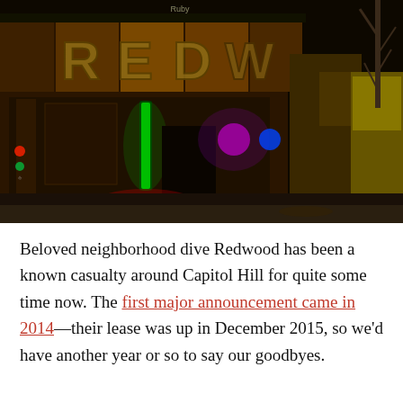[Figure (photo): Night-time exterior photo of the Redwood bar on Capitol Hill. The building facade shows large letters spelling REDWOOD with colorful neon lights glowing in green, red, blue, and purple. A bare tree is visible on the right side. The sidewalk is empty and the scene is lit by artificial lights against a dark night sky.]
Beloved neighborhood dive Redwood has been a known casualty around Capitol Hill for quite some time now. The first major announcement came in 2014—their lease was up in December 2015, so we'd have another year or so to say our goodbyes.